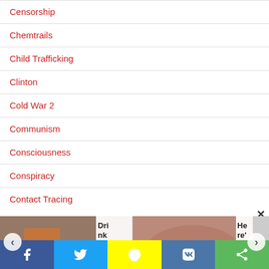Censorship
Chemtrails
Child Trafficking
Clinton
Cold War 2
Communism
Consciousness
Conspiracy
Contact Tracing
[Figure (screenshot): Advertisement strip with two images (person holding item with orange box, close-up of face/chin) and text 'Dri nk Th' and 'He re']
[Figure (screenshot): Social share bar with Facebook, Twitter, Snapchat, VK, and generic share buttons]